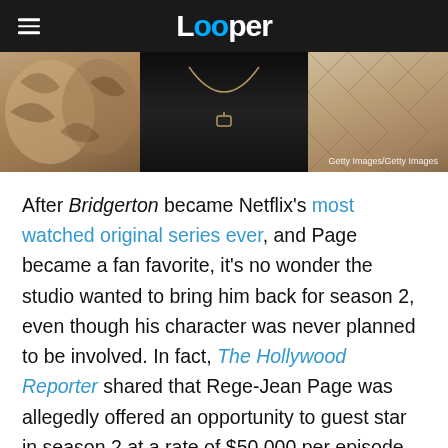Looper
[Figure (photo): Hero image showing decorative pillows on left, a gold necklace hanging against dark background in center, and patterned fabric on right. Getty Images/Getty Images credit shown.]
After Bridgerton became Netflix's most watched original series ever, and Page became a fan favorite, it's no wonder the studio wanted to bring him back for season 2, even though his character was never planned to be involved. In fact, The Hollywood Reporter shared that Rege-Jean Page was allegedly offered an opportunity to guest star in season 2 at a rate of $50,000 per episode. However, he declined.